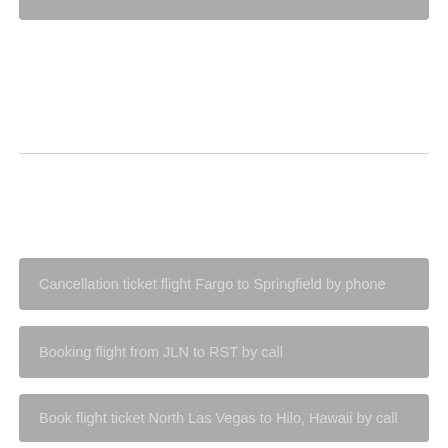Cancellation ticket flight Fargo to Springfield by phone
Booking flight from JLN to RST by call
Book flight ticket North Las Vegas to Hilo, Hawaii by call
Change flight Syracuse to Bemidji by phone
Booking flight Roanoke to Albany by call
Change flight from NYL to GRK by phone